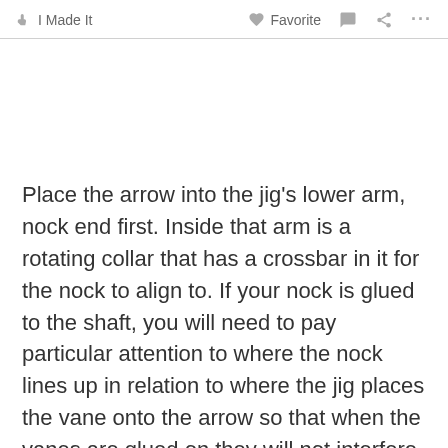I Made It   Favorite   ...
Place the arrow into the jig's lower arm, nock end first. Inside that arm is a rotating collar that has a crossbar in it for the nock to align to. If your nock is glued to the shaft, you will need to pay particular attention to where the nock lines up in relation to where the jig places the vane onto the arrow so that when the vanes are glued on they will not interfere with your arrow rest when you fire your arrow. In this case, the nock on the arrow isn't glued in so I can